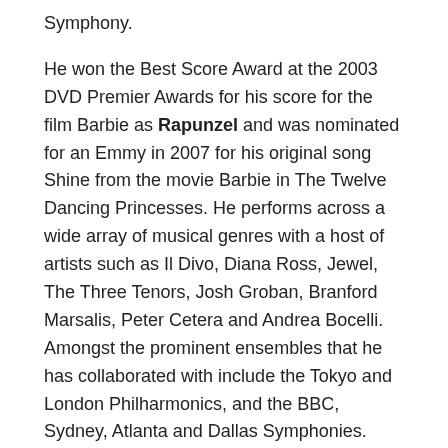Symphony.
He won the Best Score Award at the 2003 DVD Premier Awards for his score for the film Barbie as Rapunzel and was nominated for an Emmy in 2007 for his original song Shine from the movie Barbie in The Twelve Dancing Princesses. He performs across a wide array of musical genres with a host of artists such as Il Divo, Diana Ross, Jewel, The Three Tenors, Josh Groban, Branford Marsalis, Peter Cetera and Andrea Bocelli. Amongst the prominent ensembles that he has collaborated with include the Tokyo and London Philharmonics, and the BBC, Sydney, Atlanta and Dallas Symphonies.
Roth will also lead some musicians from the MPO in a concert themed A New World; intimate music from FINAL FANTASY on Sunday, 21 February 2016 at 3.00 p.m.